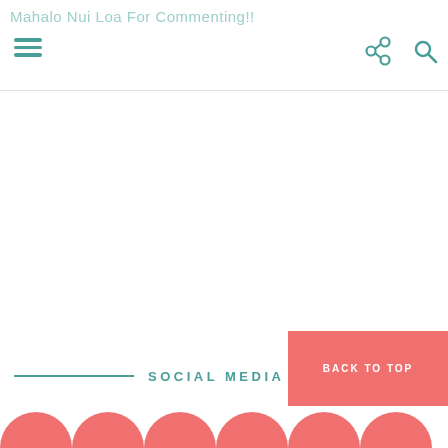Mahalo Nui Loa For Commenting!!
SOCIAL MEDIA ICONS
BACK TO TOP
[Figure (illustration): Row of coral/salmon colored semicircle bumps forming a decorative footer border]